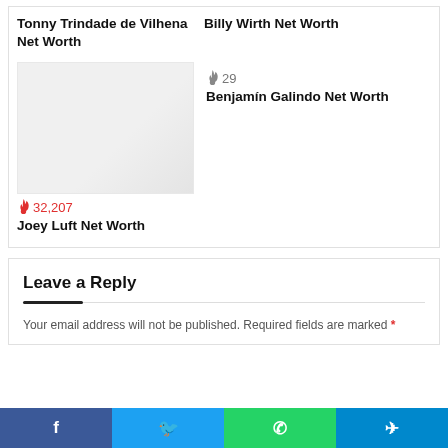Tonny Trindade de Vilhena Net Worth
Billy Wirth Net Worth
[Figure (photo): Thumbnail image placeholder for Joey Luft Net Worth article]
🔥 32,207
Joey Luft Net Worth
🔥 29
Benjamín Galindo Net Worth
Leave a Reply
Your email address will not be published. Required fields are marked *